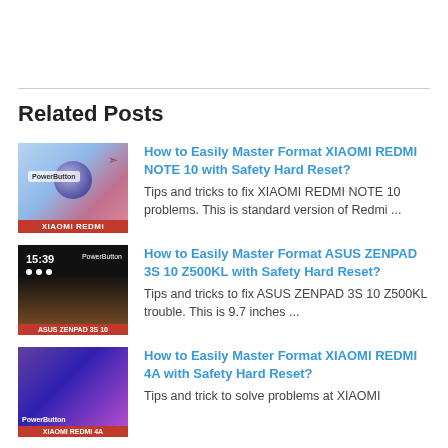Related Posts
How to Easily Master Format XIAOMI REDMI NOTE 10 with Safety Hard Reset? — Tips and tricks to fix XIAOMI REDMI NOTE 10 problems. This is standard version of Redmi ...
How to Easily Master Format ASUS ZENPAD 3S 10 Z500KL with Safety Hard Reset? — Tips and tricks to fix ASUS ZENPAD 3S 10 Z500KL trouble. This is 9.7 inches ...
How to Easily Master Format XIAOMI REDMI 4A with Safety Hard Reset? — Tips and trick to solve problems at XIAOMI